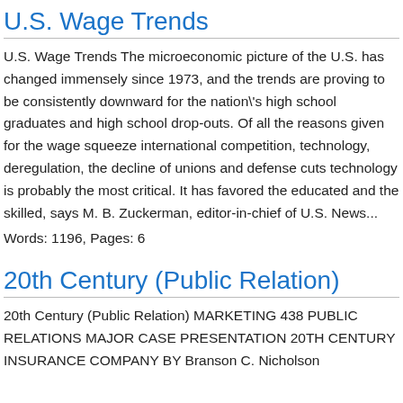U.S. Wage Trends
U.S. Wage Trends The microeconomic picture of the U.S. has changed immensely since 1973, and the trends are proving to be consistently downward for the nation's high school graduates and high school drop-outs. Of all the reasons given for the wage squeeze international competition, technology, deregulation, the decline of unions and defense cuts technology is probably the most critical. It has favored the educated and the skilled, says M. B. Zuckerman, editor-in-chief of U.S. News...
Words: 1196, Pages: 6
20th Century (Public Relation)
20th Century (Public Relation) MARKETING 438 PUBLIC RELATIONS MAJOR CASE PRESENTATION 20TH CENTURY INSURANCE COMPANY BY Branson C. Nicholson